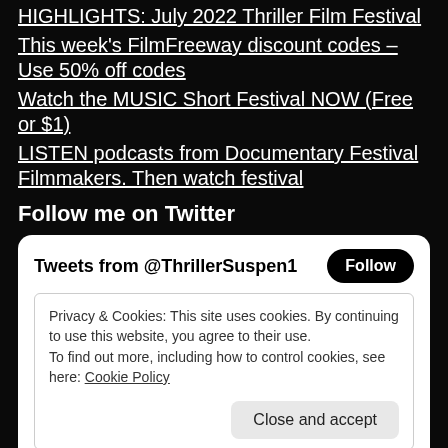HIGHLIGHTS: July 2022 Thriller Film Festival
This week's FilmFreeway discount codes – Use 50% off codes
Watch the MUSIC Short Festival NOW (Free or $1)
LISTEN podcasts from Documentary Festival Filmmakers. Then watch festival
Follow me on Twitter
[Figure (screenshot): Twitter widget showing Tweets from @ThrillerSuspen1 with a Follow button, and a cookie consent notice with Close and accept button]
Tweets from @ThrillerSuspen1
Privacy & Cookies: This site uses cookies. By continuing to use this website, you agree to their use. To find out more, including how to control cookies, see here: Cookie Policy
Close and accept